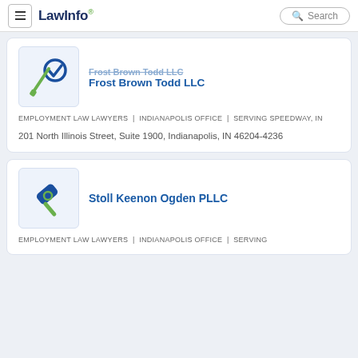LawInfo. Search
Frost Brown Todd LLC — EMPLOYMENT LAW LAWYERS | INDIANAPOLIS OFFICE | SERVING SPEEDWAY, IN — 201 North Illinois Street, Suite 1900, Indianapolis, IN 46204-4236
Stoll Keenon Ogden PLLC — EMPLOYMENT LAW LAWYERS | INDIANAPOLIS OFFICE | SERVING